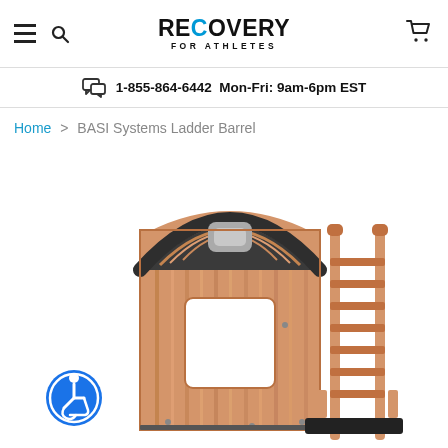RECOVERY FOR ATHLETES — navigation header with hamburger menu, search icon, logo, and cart icon
1-855-864-6442  Mon-Fri: 9am-6pm EST
Home > BASI Systems Ladder Barrel
[Figure (photo): BASI Systems Ladder Barrel product photo showing wooden arched barrel with dark curved top rail, rectangular cutout in the body, and attached wooden ladder with dark base platform, on a white background]